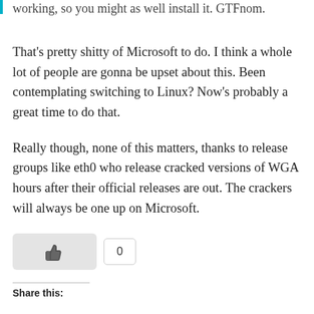working, so you might as well install it. GTFnom.
That’s pretty shitty of Microsoft to do. I think a whole lot of people are gonna be upset about this. Been contemplating switching to Linux? Now’s probably a great time to do that.
Really though, none of this matters, thanks to release groups like eth0 who release cracked versions of WGA hours after their official releases are out. The crackers will always be one up on Microsoft.
[Figure (other): Like button (thumbs up icon in a gray rounded rectangle) and a count box showing 0]
Share this: